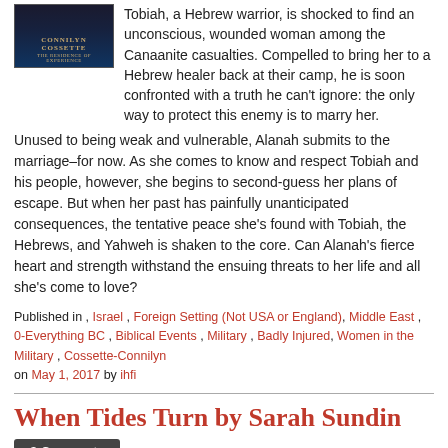[Figure (illustration): Book cover for a historical fiction novel by Connilyn Cossette, dark-toned with decorative text]
Tobiah, a Hebrew warrior, is shocked to find an unconscious, wounded woman among the Canaanite casualties. Compelled to bring her to a Hebrew healer back at their camp, he is soon confronted with a truth he can't ignore: the only way to protect this enemy is to marry her.
Unused to being weak and vulnerable, Alanah submits to the marriage–for now. As she comes to know and respect Tobiah and his people, however, she begins to second-guess her plans of escape. But when her past has painfully unanticipated consequences, the tentative peace she's found with Tobiah, the Hebrews, and Yahweh is shaken to the core. Can Alanah's fierce heart and strength withstand the ensuing threats to her life and all she's come to love?
Published in , Israel , Foreign Setting (Not USA or England), Middle East , 0-Everything BC , Biblical Events , Military , Badly Injured, Women in the Military , Cossette-Connilyn on May 1, 2017 by ihfi
When Tides Turn by Sarah Sundin
3 Comments
[Figure (photo): Book cover for 'When Tides Turn' showing two women in military uniforms against a light sky background]
When Tides Turn
1942 – Massachusetts
When fun-loving glamour girl Quintessa Beaumont learns the Navy has established the WAVES program for women, she enlists, determined to